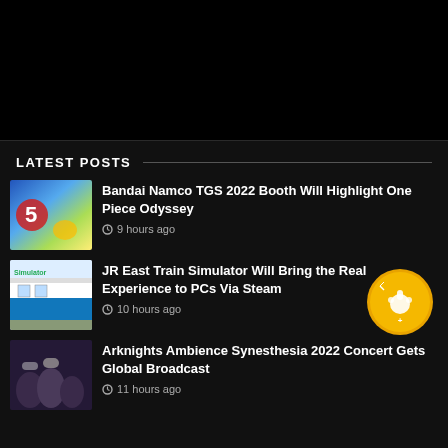[Figure (other): Black banner/advertisement area at top of page]
LATEST POSTS
[Figure (photo): Thumbnail for Bandai Namco One Piece Odyssey article showing colorful game art]
Bandai Namco TGS 2022 Booth Will Highlight One Piece Odyssey
9 hours ago
[Figure (photo): Thumbnail for JR East Train Simulator article showing a blue train]
JR East Train Simulator Will Bring the Real Experience to PCs Via Steam
10 hours ago
[Figure (photo): Thumbnail for Arknights Ambience Synesthesia 2022 Concert article showing anime characters]
Arknights Ambience Synesthesia 2022 Concert Gets Global Broadcast
11 hours ago